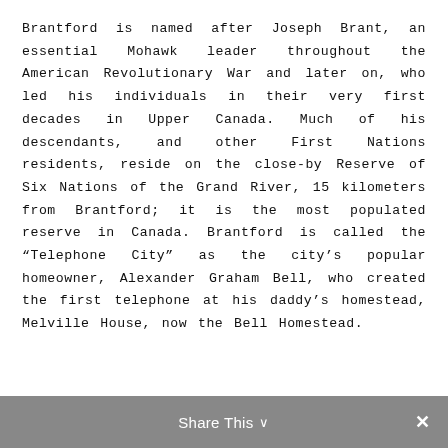Brantford is named after Joseph Brant, an essential Mohawk leader throughout the American Revolutionary War and later on, who led his individuals in their very first decades in Upper Canada. Much of his descendants, and other First Nations residents, reside on the close-by Reserve of Six Nations of the Grand River, 15 kilometers from Brantford; it is the most populated reserve in Canada. Brantford is called the “Telephone City” as the city’s popular homeowner, Alexander Graham Bell, who created the first telephone at his daddy’s homestead, Melville House, now the Bell Homestead.
Share This ⌄  ×